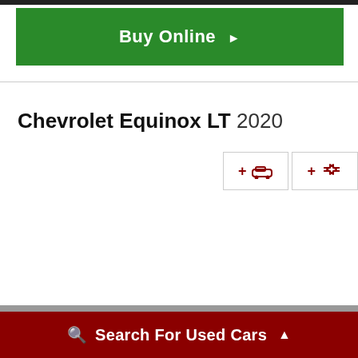[Figure (screenshot): Green Buy Online button with white bold text and right-pointing arrow]
Chevrolet Equinox LT 2020
[Figure (other): Two action buttons: + car icon and + swap/compare icon, in red on white bordered boxes]
Search For Used Cars